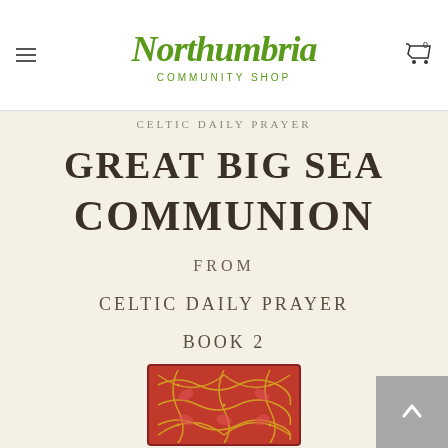[Figure (logo): Northumbria Community Shop green handwritten logo with 'COMMUNITY SHOP' text below]
[Figure (photo): Book cover showing 'Great Big Sea Communion from Celtic Daily Prayer Book 2' on a cream background with a red Celtic knot decorative image at the bottom]